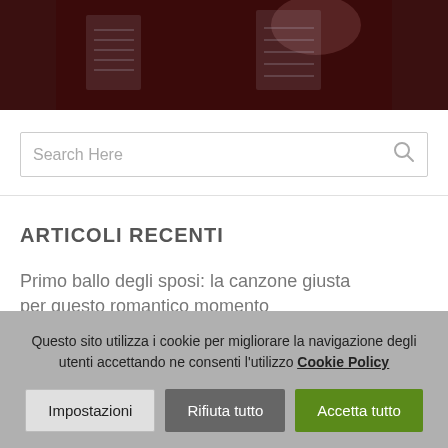[Figure (photo): Dark reddish-brown background photo, appears to be an artistic installation with illuminated panels/frames visible]
Search Here
ARTICOLI RECENTI
Primo ballo degli sposi: la canzone giusta per questo romantico momento
Questo sito utilizza i cookie per migliorare la navigazione degli utenti accettando ne consenti l'utilizzo Cookie Policy
Impostazioni  Rifiuta tutto  Accetta tutto